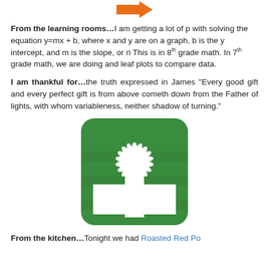[Figure (logo): Orange arrow icon pointing right, partially visible at top of page]
From the learning rooms…I am getting a lot of p with solving the equation y=mx + b, where x and y are on a graph, b is the y intercept, and m is the slope, or ri This is in 8th grade math. In 7th grade math, we are doing and leaf plots to compare data.
I am thankful for…the truth expressed in James "Every good gift and every perfect gift is from above cometh down from the Father of lights, with whom variableness, neither shadow of turning."
[Figure (illustration): Green rounded square icon with a white gift box and decorative bow on top]
From the kitchen…Tonight we had Roasted Red Po